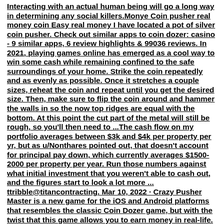Interacting with an actual human being will go a long way in determining any social killers.Monye Coin pusher real money coin Easy real money I have located a pot of silver coin pusher. Check out similar apps to coin dozer: casino - 9 similar apps, 6 review highlights & 99036 reviews. In 2021, playing games online has emerged as a cool way to win some cash while remaining confined to the safe surroundings of your home. Strike the coin repeatedly and as evenly as possible. Once it stretches a couple sizes, reheat the coin and repeat until you get the desired size. Then, make sure to flip the coin around and hammer the walls in so the now top ridges are equal with the bottom. At this point the cut part of the metal will still be rough, so you'll then need to ...The cash flow on my portfolio averages between $3k and $4k per property per yr, but as u/Nonthares pointed out, that doesn't account for principal pay down, which currently averages $1500-2000 per property per year. Run those numbers against what initial investment that you weren't able to cash out, and the figures start to look a lot more ... ttribble@titancontracting. Mar 10, 2022 · Crazy Pusher Master is a new game for the iOS and Android platforms that resembles the classic Coin Dozer game, but with the twist that this game allows you to earn money in real-life. You can drop coins, try to push them off of the edge, and win real-life rewards. You can earn cash, and even collect all 36 of the fruits in the game to win 10,000 dollars in real life, among